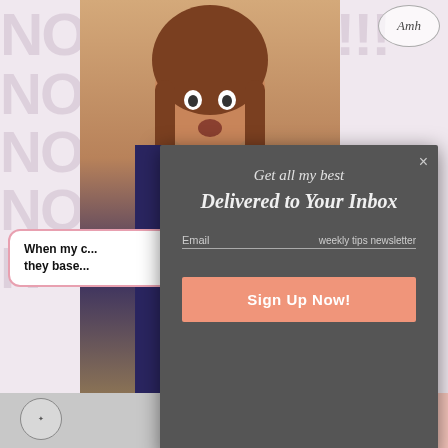[Figure (screenshot): Screenshot of a website with a woman making a surprised face, background watermark text NOOO DOO!!!, AMH logo top right, speech bubble reading 'When my c... they base...', and a modal popup overlay]
Get all my best
Delivered to Your Inbox
Email      weekly tips newsletter
Sign Up Now!
When my c... they base...
[Figure (photo): Bottom strip showing partial photo with circular logo and pink background section]